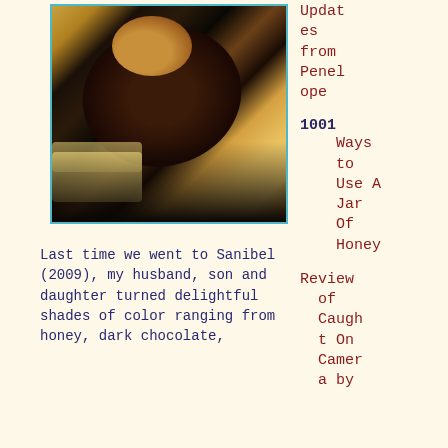[Figure (photo): A dog lying on its back on a dark tiled floor in a patch of sunlight coming through a window, with light and shadow patterns on the floor around it.]
Updates from Penelope
1001 Ways to Use A Jar Of Honey
Review of Caught On Camera by
Last time we went to Sanibel (2009), my husband, son and daughter turned delightful shades of color ranging from honey, dark chocolate,